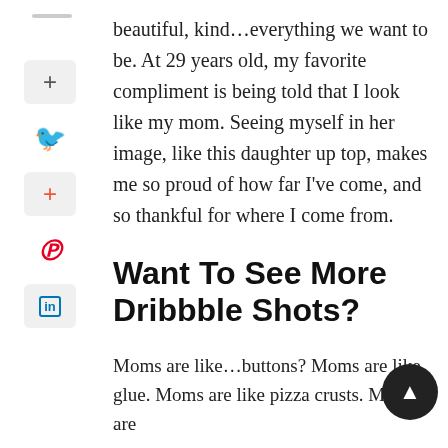beautiful, kind...everything we want to be. At 29 years old, my favorite compliment is being told that I look like my mom. Seeing myself in her image, like this daughter up top, makes me so proud of how far I've come, and so thankful for where I come from.
Want To See More Dribbble Shots?
Moms are like...buttons? Moms are like glue. Moms are like pizza crusts. Moms are...